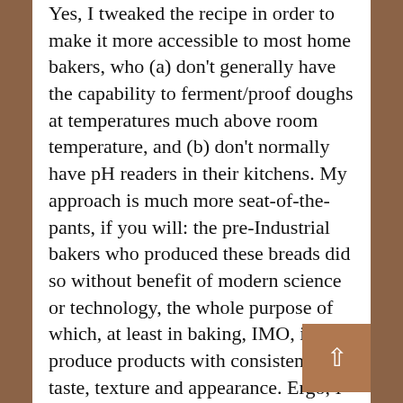Yes, I tweaked the recipe in order to make it more accessible to most home bakers, who (a) don't generally have the capability to ferment/proof doughs at temperatures much above room temperature, and (b) don't normally have pH readers in their kitchens. My approach is much more seat-of-the-pants, if you will: the pre-Industrial bakers who produced these breads did so without benefit of modern science or technology, the whole purpose of which, at least in baking, IMO, is to produce products with consistent taste, texture and appearance. Ergo, I dispensed with the stuff that I thought would be beyond most home bakers (but included the link